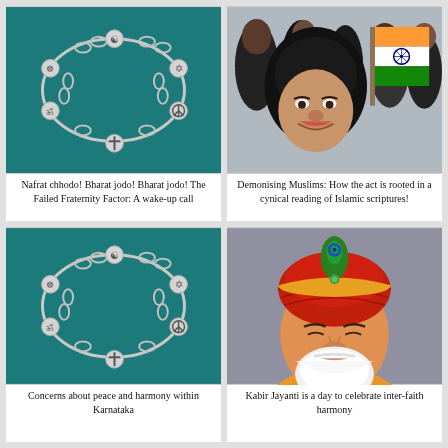[Figure (photo): Silver charm bracelet with religious symbols on teal background]
Nafrat chhodo! Bharat jodo! Bharat jodo! The Failed Fraternity Factor: A wake-up call
[Figure (photo): Smiling woman in black headscarf holding Indian tricolor flag at a gathering]
Demonising Muslims: How the act is rooted in a cynical reading of Islamic scriptures!
[Figure (photo): Silver charm bracelet with religious symbols on teal background]
Concerns about peace and harmony within Karnataka
[Figure (photo): Illustrated portrait of Kabir with red turban and peacock feather]
Kabir Jayanti is a day to celebrate inter-faith harmony